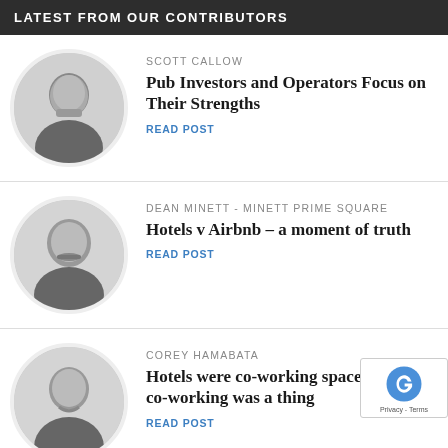LATEST FROM OUR CONTRIBUTORS
SCOTT CALLOW
Pub Investors and Operators Focus on Their Strengths
READ POST
DEAN MINETT - MINETT PRIME SQUARE
Hotels v Airbnb – a moment of truth
READ POST
COREY HAMABATA
Hotels were co-working spaces before co-working was a thing
READ POST